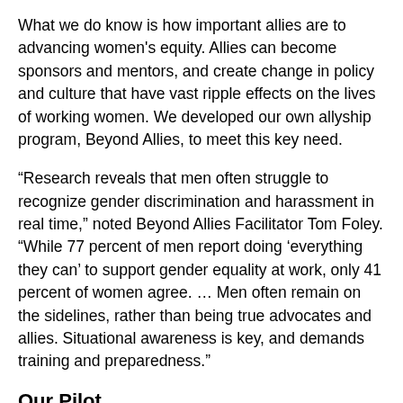What we do know is how important allies are to advancing women's equity. Allies can become sponsors and mentors, and create change in policy and culture that have vast ripple effects on the lives of working women. We developed our own allyship program, Beyond Allies, to meet this key need.
“Research reveals that men often struggle to recognize gender discrimination and harassment in real time,” noted Beyond Allies Facilitator Tom Foley. “While 77 percent of men report doing ‘everything they can’ to support gender equality at work, only 41 percent of women agree. … Men often remain on the sidelines, rather than being true advocates and allies. Situational awareness is key, and demands training and preparedness.”
Our Pilot